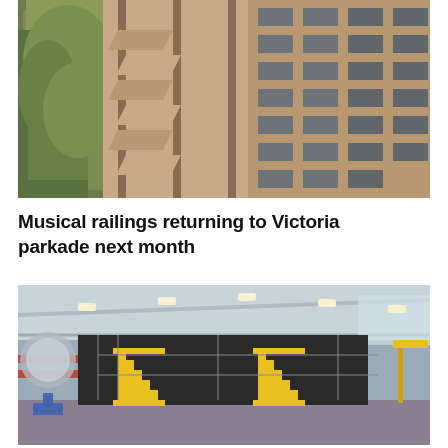[Figure (photo): Exterior view of a multi-story brick and concrete parkade building with zigzag balconies/stairways, adjacent to a tree with green foliage on the left side.]
Musical railings returning to Victoria parkade next month
[Figure (photo): Interior of an industrial facility or transit maintenance building with high ceilings, fluorescent lighting, yellow metal staircases, scaffolding, and large dark wall panels.]